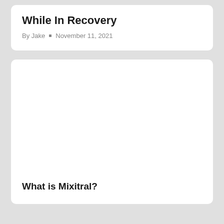While In Recovery
By Jake • November 11, 2021
[Figure (photo): Large white image placeholder, likely a photo related to the article content]
What is Mixitral?